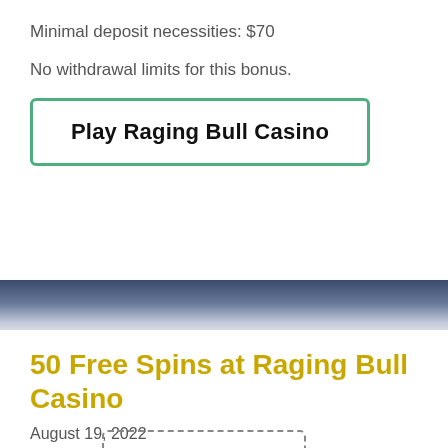Minimal deposit necessities: $70
No withdrawal limits for this bonus.
Play Raging Bull Casino
50 Free Spins at Raging Bull Casino
August 19, 2022